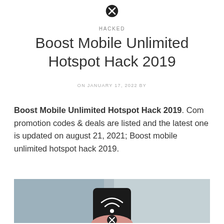[Figure (other): Close/X button icon at top center]
HACKED
Boost Mobile Unlimited Hotspot Hack 2019
ON JANUARY 17, 2022 BY
Boost Mobile Unlimited Hotspot Hack 2019. Com promotion codes & deals are listed and the latest one is updated on august 21, 2021; Boost mobile unlimited hotspot hack 2019.
[Figure (photo): Hand holding a smartphone displaying a WiFi/hotspot icon on a dark screen, blurred indoor background]